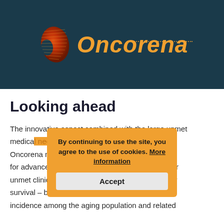[Figure (logo): Oncorena logo on dark teal background with kidney-shaped icon and italic orange text reading 'Oncorena' with dotted line accent]
Looking ahead
The innovative aspect combined with the large unmet medical need are crucial factors for Oncorena moving forward. An efficient treatment for advanced kidney cancer is an urgent and major unmet clinical need – not only because of the poor survival – but also due to projected increase in incidence among the aging population and related
By continuing to use the site, you agree to the use of cookies. More information
Accept